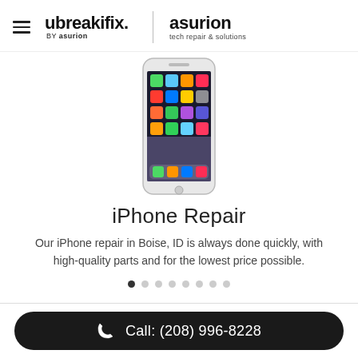[Figure (logo): ubreakifix by asurion logo with hamburger menu and asurion tech repair & solutions logo]
[Figure (photo): iPhone smartphone showing home screen with app icons]
iPhone Repair
Our iPhone repair in Boise, ID is always done quickly, with high-quality parts and for the lowest price possible.
[Figure (other): Slide indicator dots, 8 dots with first dot active]
Call: (208) 996-8228